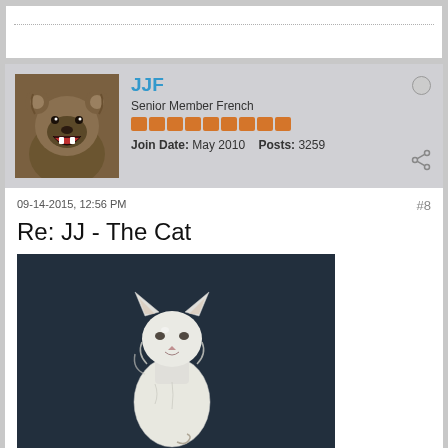JJF
Senior Member French
Join Date: May 2010   Posts: 3259
09-14-2015, 12:56 PM
#8
Re: JJ - The Cat
[Figure (photo): Photo of a white cat sculpture or artwork against a dark background]